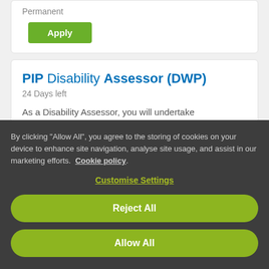Permanent
Apply
PIP Disability Assessor (DWP)
24 Days left
As a Disability Assessor, you will undertake assessments where you will analyse and interpret clinical information and medical evidence relating to the claimant's functional ability....
By clicking "Allow All", you agree to the storing of cookies on your device to enhance site navigation, analyse site usage, and assist in our marketing efforts. Cookie policy.
Customise Settings
Reject All
Allow All